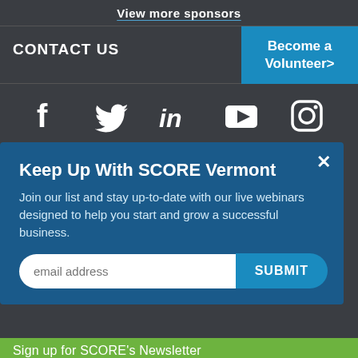View more sponsors
CONTACT US
Become a Volunteer>
[Figure (infographic): Social media icons: Facebook, Twitter, LinkedIn, YouTube, Instagram]
Keep Up With SCORE Vermont
Join our list and stay up-to-date with our live webinars designed to help you start and grow a successful business.
email address  SUBMIT
PHONE:  (802) 764-3859
EMAIL US: scorevermont@scorevolunteer.org
Need more information? Visit our Contact page.
Sign up for SCORE's Newsletter